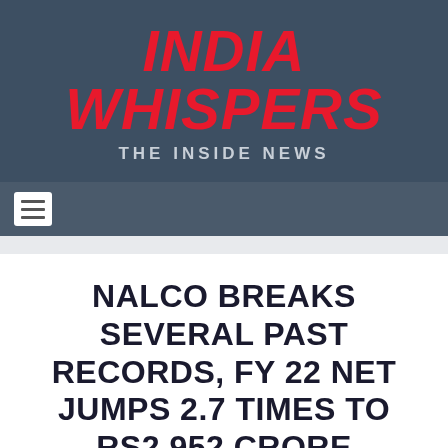INDIA WHISPERS – THE INSIDE NEWS
NALCO BREAKS SEVERAL PAST RECORDS, FY 22 NET JUMPS 2.7 TIMES TO RS2,952 CRORE
By IW News Service | May 25, 2022 | Business, World |